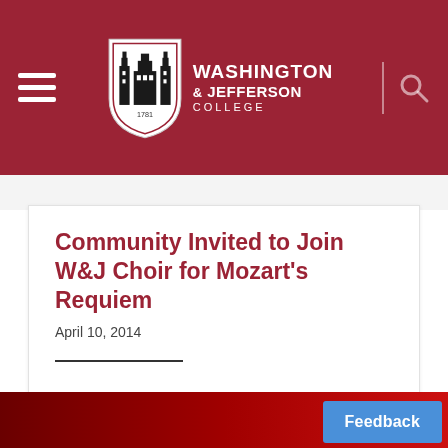Washington & Jefferson College
Community Invited to Join W&J Choir for Mozart's Requiem
April 10, 2014
...